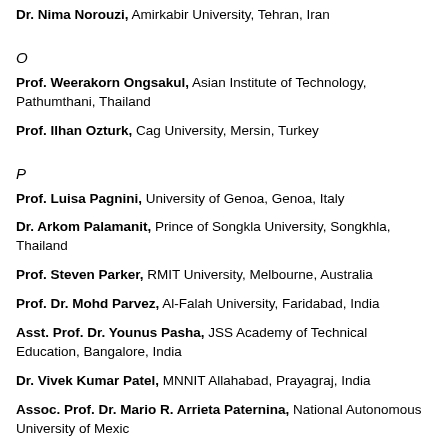Dr. Nima Norouzi, Amirkabir University, Tehran, Iran
O
Prof. Weerakorn Ongsakul, Asian Institute of Technology, Pathumthani, Thailand
Prof. Ilhan Ozturk, Cag University, Mersin, Turkey
P
Prof. Luisa Pagnini, University of Genoa, Genoa, Italy
Dr. Arkom Palamanit, Prince of Songkla University, Songkhla, Thailand
Prof. Steven Parker, RMIT University, Melbourne, Australia
Prof. Dr. Mohd Parvez, Al-Falah University, Faridabad, India
Asst. Prof. Dr. Younus Pasha, JSS Academy of Technical Education, Bangalore, India
Dr. Vivek Kumar Patel, MNNIT Allahabad, Prayagraj, India
Assoc. Prof. Dr. Mario R. Arrieta Paternina, National Autonomous University of Mexico